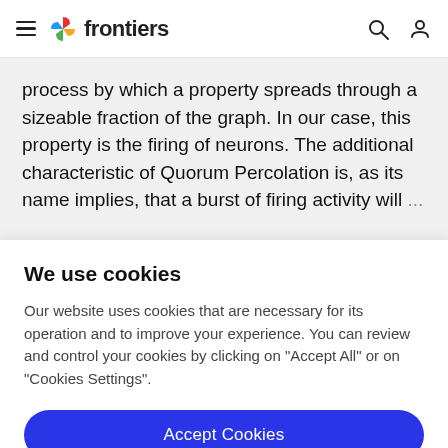frontiers
process by which a property spreads through a sizeable fraction of the graph. In our case, this property is the firing of neurons. The additional characteristic of Quorum Percolation is, as its name implies, that a burst of firing activity will...
We use cookies
Our website uses cookies that are necessary for its operation and to improve your experience. You can review and control your cookies by clicking on "Accept All" or on "Cookies Settings".
Accept Cookies
Cookies Settings